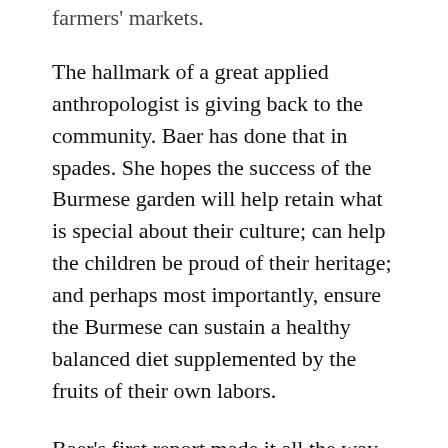farmers' markets.
The hallmark of a great applied anthropologist is giving back to the community. Baer has done that in spades. She hopes the success of the Burmese garden will help retain what is special about their culture; can help the children be proud of their heritage; and perhaps most importantly, ensure the Burmese can sustain a healthy balanced diet supplemented by the fruits of their own labors.
Baer's first report made it all the way to the federal government; and, rather comically, someone on the garden advisory board unwittingly handed her own report back to her, noting that he had been sent it by Office of Refugee Resettlement She hopes this report and her other research will get to policy makers so that there will be added funding for programs like this for refugee resettlement offered throughout the country.